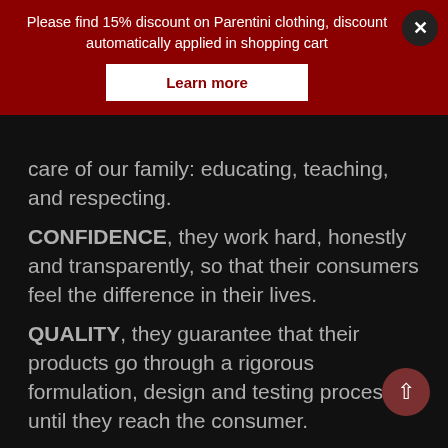Please find 15% discount on Parentini clothing, discount automatically applied in shopping cart
Learn more
care of our family: educating, teaching, and respecting.
CONFIDENCE, they work hard, honestly and transparently, so that their consumers feel the difference in their lives.
QUALITY, they guarantee that their products go through a rigorous formulation, design and testing process until they reach the consumer.